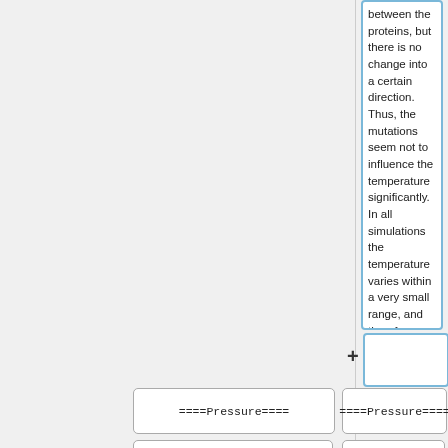between the proteins, but there is no change into a certain direction. Thus, the mutations seem not to influence the temperature significantly. In all simulations the temperature varies within a very small range, and therefore could be declared as stabilized.
====Pressure====
====Pressure====
{|class="wikitable" border="1" style="text-align:center; border-spacing:0;"
{|class="wikitable" border="1" style="text-align:center; border-spacing:0;"